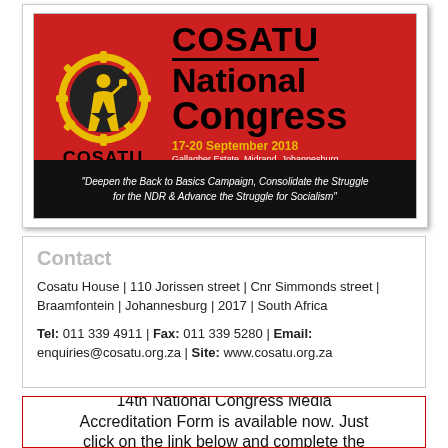[Figure (illustration): COSATU 14th National Congress poster. Red background with COSATU logo (worker with fist and gear wheel), text 'COSATU National Congress 17-20 September 2018, Gallagher Estate, Midrand, Johannesburg'. Black banner with quote: 'Deepen the Back to Basics Campaign, Consolidate the Struggle for the NDR & Advance the Struggle for Socialism']
Contact
Cosatu House | 110 Jorissen street | Cnr Simmonds street | Braamfontein | Johannesburg | 2017 | South Africa
Tel: 011 339 4911 | Fax: 011 339 5280 | Email: enquiries@cosatu.org.za | Site: www.cosatu.org.za
14th National Congress Media Accreditation Form is available now. Just click on the link below and complete the